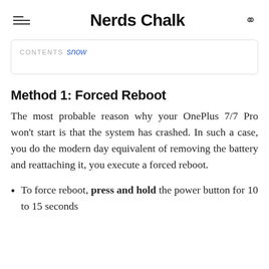Nerds Chalk
CONTENTS snow
Method 1: Forced Reboot
The most probable reason why your OnePlus 7/7 Pro won't start is that the system has crashed. In such a case, you do the modern day equivalent of removing the battery and reattaching it, you execute a forced reboot.
To force reboot, press and hold the power button for 10 to 15 seconds